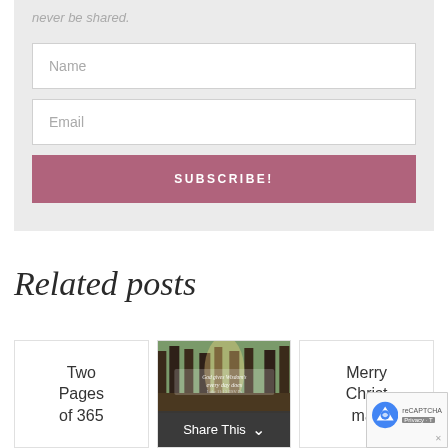never be shared.
Name
Email
SUBSCRIBE!
Related posts
Two Pages of 365
[Figure (photo): Forest path with sunlight filtering through trees, with text overlay]
Merry Christmas
Share This